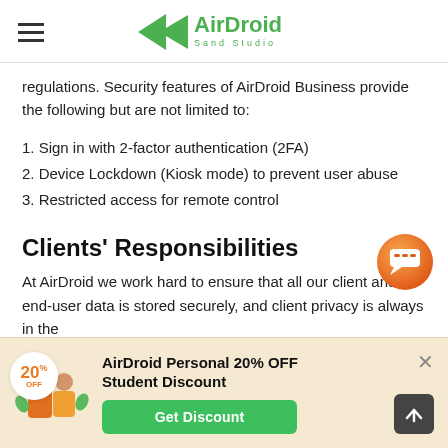AirDroid Sand Studio
regulations. Security features of AirDroid Business provide the following but are not limited to:
1. Sign in with 2-factor authentication (2FA)
2. Device Lockdown (Kiosk mode) to prevent user abuse
3. Restricted access for remote control
Clients' Responsibilities
At AirDroid we work hard to ensure that all our client and end-user data is stored securely, and client privacy is always in the
[Figure (other): Chat bubble support icon, orange/gradient circular button]
[Figure (infographic): Promotional banner: AirDroid Personal 20% OFF Student Discount with Get Discount button and student illustration]